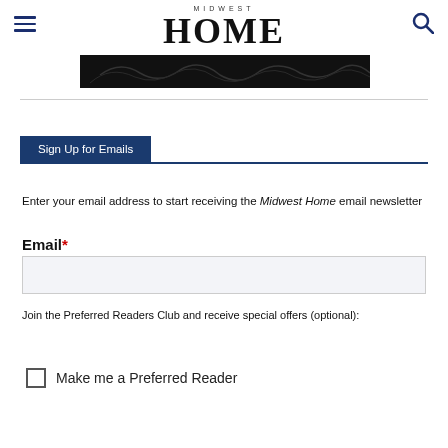MIDWEST HOME
[Figure (illustration): Dark banner/decorative image with botanical/floral line art on black background]
Sign Up for Emails
Enter your email address to start receiving the Midwest Home email newsletter
Email*
Join the Preferred Readers Club and receive special offers (optional):
Make me a Preferred Reader